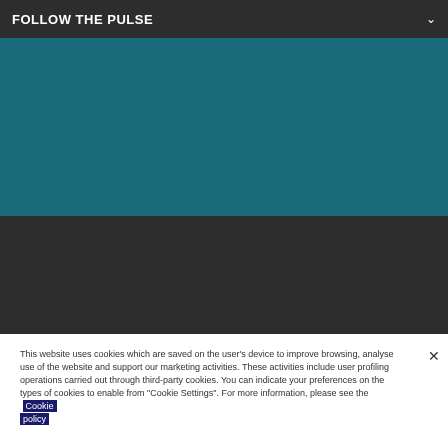FOLLOW THE PULSE
[Figure (other): Teal colored background block area]
[Figure (other): Dark gray background block area]
This website uses cookies which are saved on the user's device to improve browsing, analyse use of the website and support our marketing activities. These activities include user profiling operations carried out through third-party cookies. You can indicate your preferences on the types of cookies to enable from "Cookie Settings". For more information, please see the Cookie policy